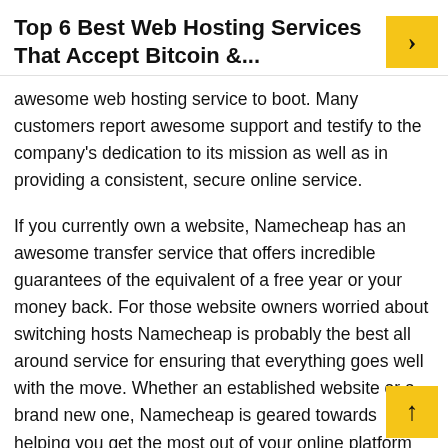Top 6 Best Web Hosting Services That Accept Bitcoin &...
awesome web hosting service to boot. Many customers report awesome support and testify to the company's dedication to its mission as well as in providing a consistent, secure online service.
If you currently own a website, Namecheap has an awesome transfer service that offers incredible guarantees of the equivalent of a free year or your money back. For those website owners worried about switching hosts Namecheap is probably the best all around service for ensuring that everything goes well with the move. Whether an established website or a brand new one, Namecheap is geared towards helping you get the most out of your online platform and will probably be one of the top players for years to come.